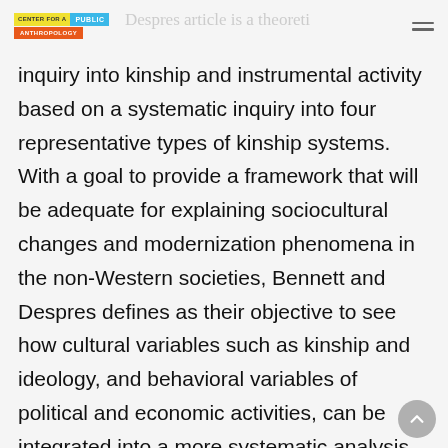CENTER FOR A PUBLIC ANTHROPOLOGY
inquiry into kinship and instrumental activity based on a systematic inquiry into four representative types of kinship systems. With a goal to provide a framework that will be adequate for explaining sociocultural changes and modernization phenomena in the non-Western societies, Bennett and Despres defines as their objective to see how cultural variables such as kinship and ideology, and behavioral variables of political and economic activities, can be integrated into a more systematic analysis that allow for theoretical implications.